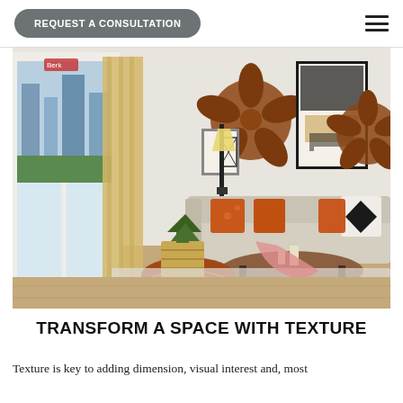REQUEST A CONSULTATION
[Figure (photo): Interior living room scene with a beige sofa, orange throw pillows, a leather pouf, wicker basket planter, wooden round coffee table, floor lamp, large windows with gold curtains overlooking a city skyline, and wall art featuring rustic starfish and abstract black-and-white framed artwork. A shaggy white rug covers the floor.]
TRANSFORM A SPACE WITH TEXTURE
Texture is key to adding dimension, visual interest and, most